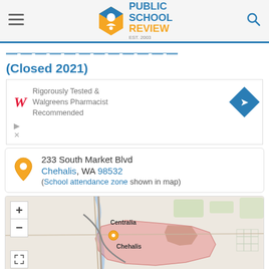Public School Review EST. 2003
(Closed 2021)
[Figure (other): Walgreens advertisement: Rigorously Tested & Walgreens Pharmacist Recommended]
233 South Market Blvd
Chehalis, WA 98532
(School attendance zone shown in map)
[Figure (map): Map showing Chehalis, WA area with school attendance zone highlighted in pink/red. Centralia and Chehalis cities labeled. Map has zoom controls (+/-) and expand button.]